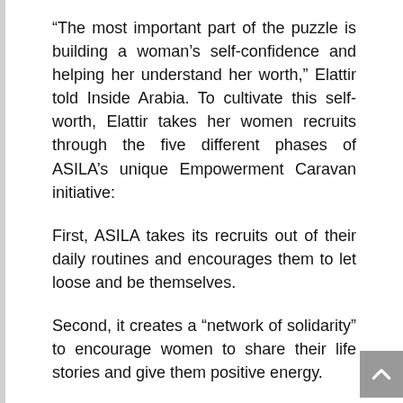“The most important part of the puzzle is building a woman’s self-confidence and helping her understand her worth,” Elattir told Inside Arabia. To cultivate this self-worth, Elattir takes her women recruits through the five different phases of ASILA’s unique Empowerment Caravan initiative:
First, ASILA takes its recruits out of their daily routines and encourages them to let loose and be themselves.
Second, it creates a “network of solidarity” to encourage women to share their life stories and give them positive energy.
Third, ASILA tries to change the power dynamics…